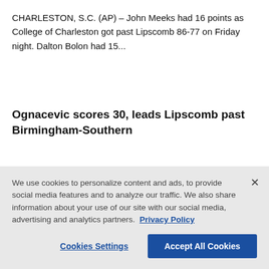CHARLESTON, S.C. (AP) – John Meeks had 16 points as College of Charleston got past Lipscomb 86-77 on Friday night. Dalton Bolon had 15...
Ognacevic scores 30, leads Lipscomb past Birmingham-Southern
Nov. 10, 2021 01:42 AM EST
NASHVILLE, Tenn. (AP) – Jacob Ognacevic had a career-high 30 points as Lipscomb topped Division III-member Birmingham-
We use cookies to personalize content and ads, to provide social media features and to analyze our traffic. We also share information about your use of our site with our social media, advertising and analytics partners. Privacy Policy
Cookies Settings
Accept All Cookies